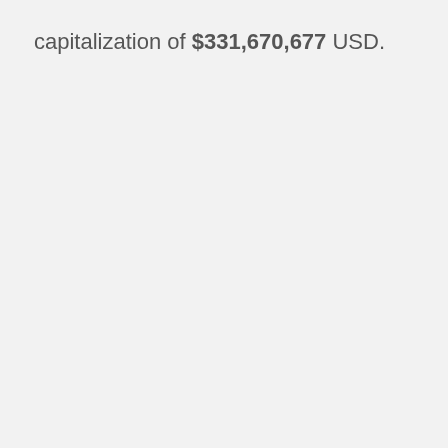capitalization of $331,670,677 USD.